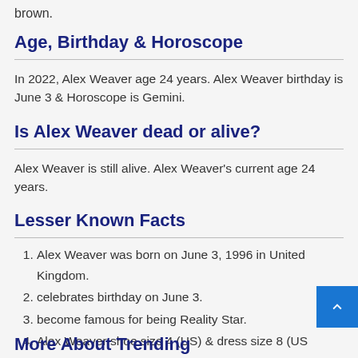brown.
Age, Birthday & Horoscope
In 2022, Alex Weaver age 24 years. Alex Weaver birthday is June 3 & Horoscope is Gemini.
Is Alex Weaver dead or alive?
Alex Weaver is still alive. Alex Weaver's current age 24 years.
Lesser Known Facts
Alex Weaver was born on June 3, 1996 in United Kingdom.
celebrates birthday on June 3.
become famous for being Reality Star.
Alex Weaver shoe size 4 (US) & dress size 8 (US
More About Trending